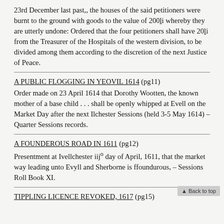23rd December last past,, the houses of the said petitioners were burnt to the ground with goods to the value of 200li whereby they are utterly undone: Ordered that the four petitioners shall have 20li from the Treasurer of the Hospitals of the western division, to be divided among them according to the discretion of the next Justice of Peace.
A PUBLIC FLOGGING IN YEOVIL 1614 (pg11)
Order made on 23 April 1614 that Dorothy Wootten, the known mother of a base child . . . shall be openly whipped at Evell on the Market Day after the next Ilchester Sessions (held 3-5 May 1614) – Quarter Sessions records.
A FOUNDEROUS ROAD IN 1611 (pg12)
Presentment at Ivellchester iijo day of April, 1611, that the market way leading unto Evyll and Sherborne is ffoundurous, – Sessions Roll Book XI.
TIPPLING LICENCE REVOKED, 1617 (pg15)